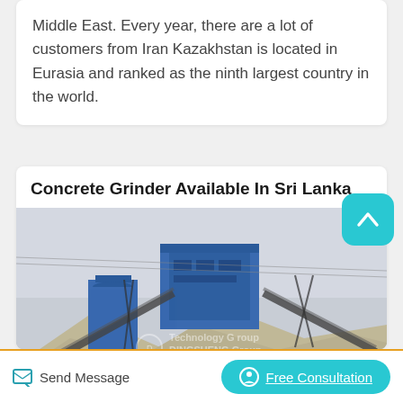Middle East. Every year, there are a lot of customers from Iran Kazakhstan is located in Eurasia and ranked as the ninth largest country in the world.
Concrete Grinder Available In Sri Lanka
[Figure (photo): Industrial concrete grinding / crushing plant with blue machinery, conveyor belts, and piles of crushed stone. DINGSHENG Group watermark visible.]